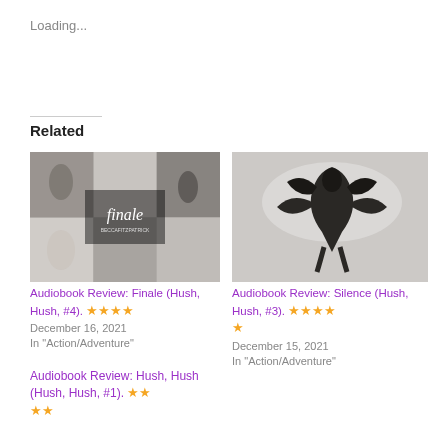Loading...
Related
[Figure (photo): Book cover collage for Finale (Hush, Hush, #4) showing black and white romantic/dramatic photo collage with 'finale' text overlay]
Audiobook Review: Finale (Hush, Hush, #4). ★★★★ December 16, 2021 In "Action/Adventure"
[Figure (photo): Book cover for Audiobook Review: Silence (Hush, Hush, #3) showing black and white silhouette of figures]
Audiobook Review: Silence (Hush, Hush, #3). ★★★★★ December 15, 2021 In "Action/Adventure"
Audiobook Review: Hush, Hush (Hush, Hush, #1). ★★★★